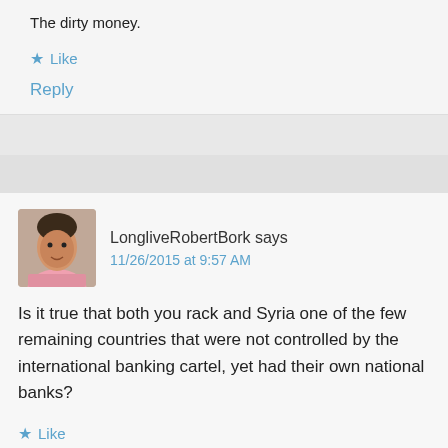The dirty money.
Like
Reply
LongliveRobertBork says
11/26/2015 at 9:57 AM
[Figure (photo): Avatar photo of LongliveRobertBork, a man's face]
Is it true that both you rack and Syria one of the few remaining countries that were not controlled by the international banking cartel, yet had their own national banks?
Like